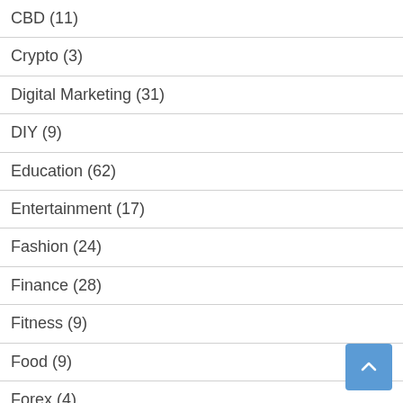CBD (11)
Crypto (3)
Digital Marketing (31)
DIY (9)
Education (62)
Entertainment (17)
Fashion (24)
Finance (28)
Fitness (9)
Food (9)
Forex (4)
Gadgets (2)
Gaming (7)